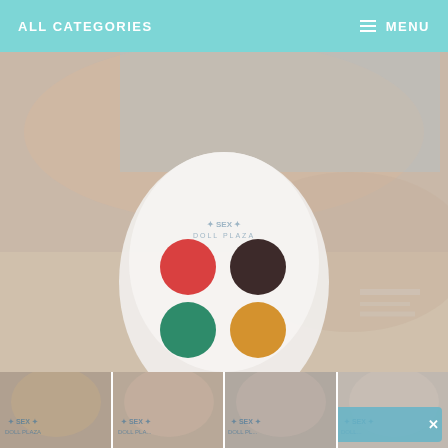ALL CATEGORIES   MENU
[Figure (photo): Product photo showing a white rounded massager/toy device overlaid on a background lifestyle photo. The device has four color swatches: red, dark brown, green, and amber/yellow. A watermark reading SEX DOLL PLAZA is visible. Four thumbnail images appear at the bottom. A chat now button with X close is in the lower right.]